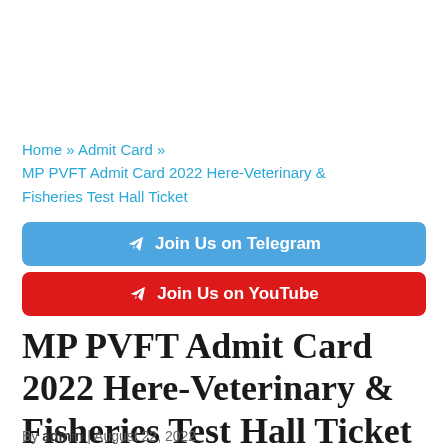Home » Admit Card » MP PVFT Admit Card 2022 Here-Veterinary & Fisheries Test Hall Ticket
[Figure (other): Blue button: Join Us on Telegram]
[Figure (other): Red button: Join Us on YouTube]
MP PVFT Admit Card 2022 Here-Veterinary & Fisheries Test Hall Ticket
By admin | August 22, 2022